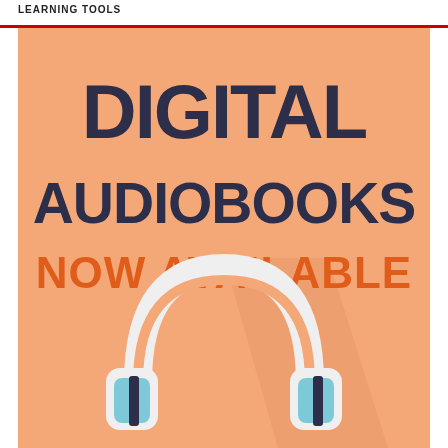LEARNING TOOLS
[Figure (illustration): Promotional graphic with orange background showing bold dark navy text 'DIGITAL AUDIOBOOKS' and orange bold text 'NOW AVAILABLE' below it, with a flat design illustration of headphones at the bottom center.]